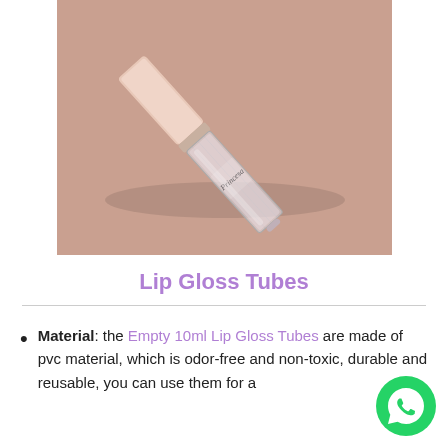[Figure (photo): A clear lip gloss tube with a light pink/nude cap labeled 'Princesa', photographed diagonally on a peach/salmon background]
Lip Gloss Tubes
Material: the Empty 10ml Lip Gloss Tubes are made of pvc material, which is odor-free and non-toxic, durable and reusable, you can use them for a
[Figure (logo): WhatsApp icon button in green circle]